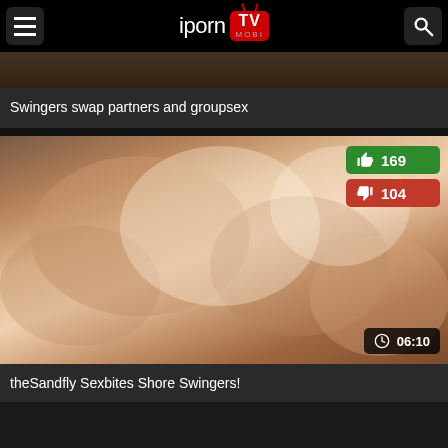iporn MOBI TV
Swingers swap partners and groupsex
[Figure (photo): Video thumbnail showing outdoor group scene with likes: 169, dislikes: 104, duration: 06:10]
theSandfly Sexbites Shore Swingers!